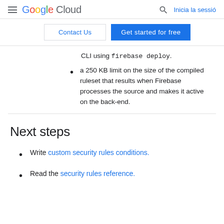Google Cloud — Inicia la sessió
CLI using firebase deploy.
a 250 KB limit on the size of the compiled ruleset that results when Firebase processes the source and makes it active on the back-end.
Next steps
Write custom security rules conditions.
Read the security rules reference.